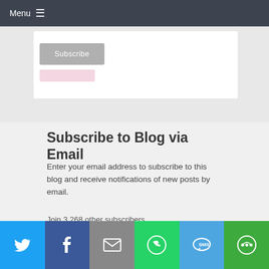Menu ≡
[Figure (screenshot): Subscribe button area with gray button and pink element below]
Subscribe to Blog via Email
Enter your email address to subscribe to this blog and receive notifications of new posts by email.
Join 3,268 other subscribers
[Figure (screenshot): Email Address input field with placeholder text]
[Figure (infographic): Social share bar with Twitter, Facebook, Email, WhatsApp, SMS, and share buttons]